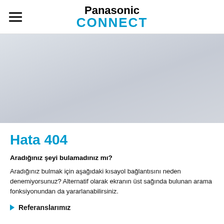Panasonic CONNECT
[Figure (illustration): Gray gradient hero banner image area]
Hata 404
Aradığınız şeyi bulamadınız mı?
Aradığınız bulmak için aşağıdaki kısayol bağlantısını neden denemiyorsunuz? Alternatif olarak ekranın üst sağında bulunan arama fonksiyonundan da yararlanabilirsiniz.
Referanslarımız